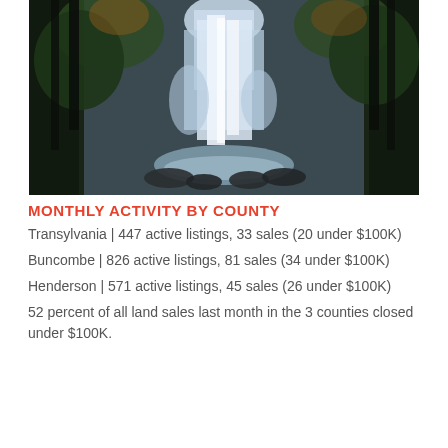[Figure (photo): A large waterfall cascading down a rocky cliff surrounded by autumn foliage and trees]
MONTHLY ACTIVITY BY COUNTY
Transylvania | 447 active listings, 33 sales (20 under $100K)
Buncombe | 826 active listings, 81 sales (34 under $100K)
Henderson | 571 active listings, 45 sales (26 under $100K)
52 percent of all land sales last month in the 3 counties closed under $100K.